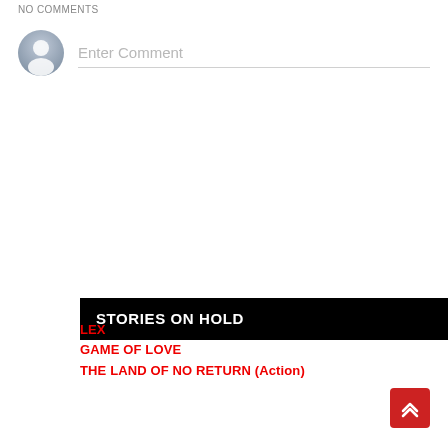NO COMMENTS
[Figure (other): User avatar circle icon and comment input field with placeholder text 'Enter Comment']
STORIES ON HOLD
LEX
GAME OF LOVE
THE LAND OF NO RETURN (Action)